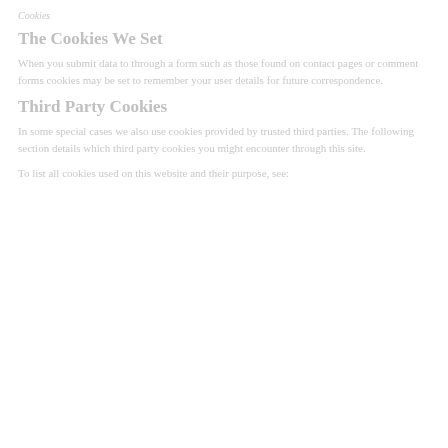Cookies
The Cookies We Set
When you submit data to through a form such as those found on contact pages or comment forms cookies may be set to remember your user details for future correspondence.
Third Party Cookies
In some special cases we also use cookies provided by trusted third parties. The following section details which third party cookies you might encounter through this site.
To list all cookies used on this website and their purpose, see: